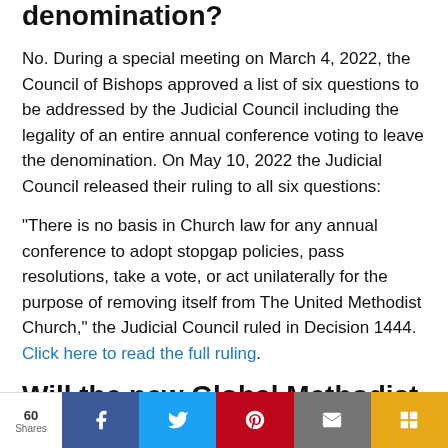denomination?
No. During a special meeting on March 4, 2022, the Council of Bishops approved a list of six questions to be addressed by the Judicial Council including the legality of an entire annual conference voting to leave the denomination. On May 10, 2022 the Judicial Council released their ruling to all six questions:
“There is no basis in Church law for any annual conference to adopt stopgap policies, pass resolutions, take a vote, or act unilaterally for the purpose of removing itself from The United Methodist Church,” the Judicial Council ruled in Decision 1444. Click here to read the full ruling.
Will the new Global Methodist Church denomination accept all